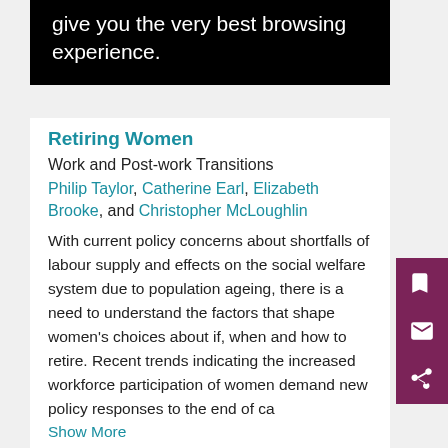give you the very best browsing experience.
Retiring Women
Work and Post-work Transitions
Philip Taylor, Catherine Earl, Elizabeth Brooke, and Christopher McLoughlin
With current policy concerns about shortfalls of labour supply and effects on the social welfare system due to population ageing, there is a need to understand the factors that shape women's choices about if, when and how to retire. Recent trends indicating the increased workforce participation of women demand new policy responses to the end of ca
Show More